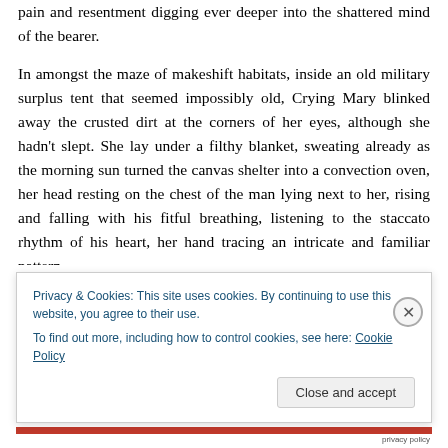pain and resentment digging ever deeper into the shattered mind of the bearer.
In amongst the maze of makeshift habitats, inside an old military surplus tent that seemed impossibly old, Crying Mary blinked away the crusted dirt at the corners of her eyes, although she hadn't slept. She lay under a filthy blanket, sweating already as the morning sun turned the canvas shelter into a convection oven, her head resting on the chest of the man lying next to her, rising and falling with his fitful breathing, listening to the staccato rhythm of his heart, her hand tracing an intricate and familiar pattern
Privacy & Cookies: This site uses cookies. By continuing to use this website, you agree to their use.
To find out more, including how to control cookies, see here: Cookie Policy
Close and accept